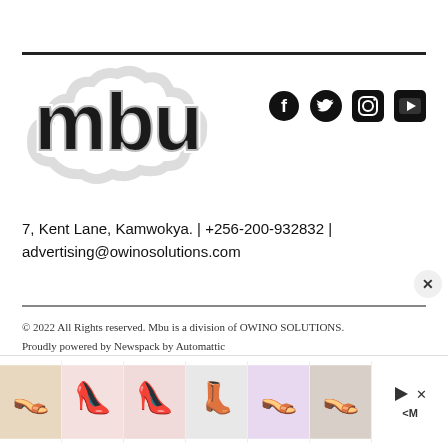[Figure (logo): mbu logo in stylized bubble letters with outline effect]
[Figure (infographic): Social media icons: Facebook, Twitter, Instagram, YouTube]
7, Kent Lane, Kamwokya. | +256-200-932832 | advertising@owinosolutions.com
© 2022 All Rights reserved. Mbu is a division of OWINO SOLUTIONS.
Proudly powered by Newspack by Automattic
[Figure (photo): Advertisement banner showing various women's shoes/heels]